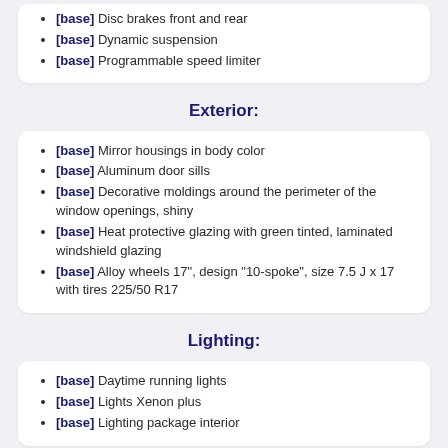[base] Disc brakes front and rear
[base] Dynamic suspension
[base] Programmable speed limiter
Exterior:
[base] Mirror housings in body color
[base] Aluminum door sills
[base] Decorative moldings around the perimeter of the window openings, shiny
[base] Heat protective glazing with green tinted, laminated windshield glazing
[base] Alloy wheels 17", design "10-spoke", size 7.5 J x 17 with tires 225/50 R17
Lighting:
[base] Daytime running lights
[base] Lights Xenon plus
[base] Lighting package interior
Interior: